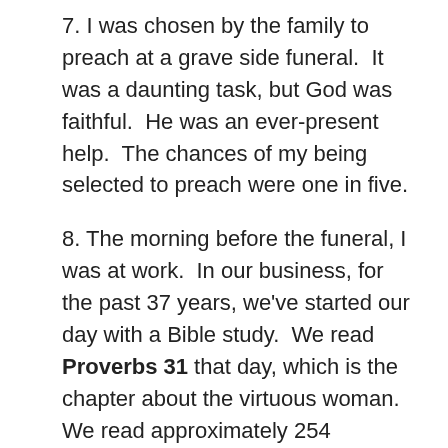7. I was chosen by the family to preach at a grave side funeral.  It was a daunting task, but God was faithful.  He was an ever-present help.  The chances of my being selected to preach were one in five.
8. The morning before the funeral, I was at work.  In our business, for the past 37 years, we've started our day with a Bible study.  We read Proverbs 31 that day, which is the chapter about the virtuous woman.  We read approximately 254 chapters per year.  Multiply that by 37 years.  The chances we would read this chapter the day of the funeral was one